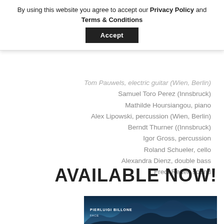By using this website you agree to accept our Privacy Policy and Terms & Conditions
Accept
Tom Pauwels, electric guitar (Wien, Berlin)
Samuel Toro Perez (Innsbruck)
Mathilde Hoursiangou, piano
Alex Lipowski, percussion (Wien, Berlin)
Berndt Thurner ((Innsbruck)
Igor Gross, percussion
Roland Schueler, cello
Alexandra Dienz, double bass
Fredi Reiter, sound
AVAILABLE NOW!
[Figure (photo): Album cover for Pierluigi Billone - FACE, showing a blue waveform/landscape on a dark blue background with text 'PIERLUIGI BILLONE' and 'FACE']